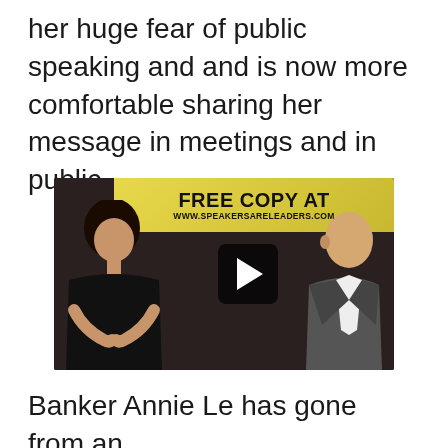her huge fear of public speaking and and is now more comfortable sharing her message in meetings and in public.
[Figure (screenshot): Video thumbnail showing a woman speaking in front of a banner that reads FREE COPY AT WWW.SPEAKERSARELEADERS.COM, with a play button overlay and a man visible in the background.]
Banker Annie Le has gone from an